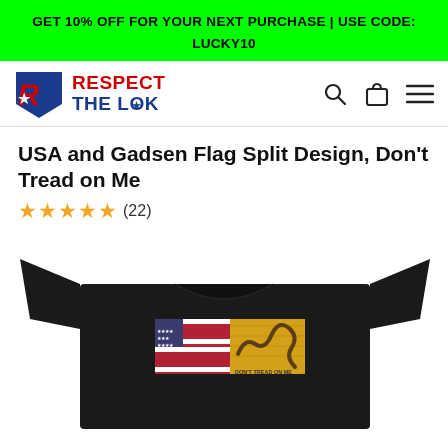GET 10% OFF FOR YOUR NEXT PURCHASE | USE CODE: LUCKY10
[Figure (logo): Respect The Look logo with a stylized R in a shield with a star, red text 'RESPECT' and blue text 'THE LOOK']
USA and Gadsen Flag Split Design, Don't Tread on Me
★★★★★ (22)
[Figure (photo): Black t-shirt with USA and Gadsden flag split design printed on the front, showing an American flag on the left half and a yellow Gadsden 'Don't Tread on Me' rattlesnake flag on the right half]